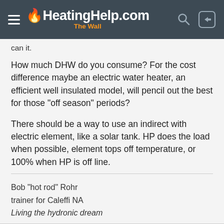HeatingHelp.com — The Wall
can it.
How much DHW do you consume? For the cost difference maybe an electric water heater, an efficient well insulated model, will pencil out the best for those "off season" periods?
There should be a way to use an indirect with electric element, like a solar tank. HP does the load when possible, element tops off temperature, or 100% when HP is off line.
Bob "hot rod" Rohr
trainer for Caleffi NA
Living the hydronic dream